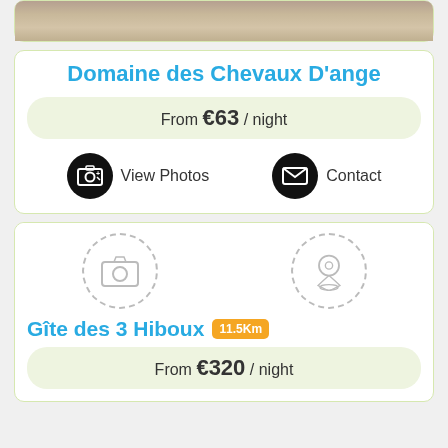[Figure (photo): Top portion of a property listing card showing a stone/rocky landscape photo]
Domaine des Chevaux D'ange
From €63 / night
View Photos
Contact
[Figure (photo): Second property listing card with placeholder camera and location pin icons, no photo loaded]
Gîte des 3 Hiboux 11.5Km
From €320 / night